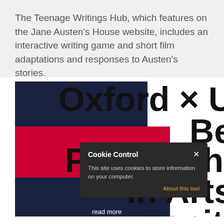The Teenage Writings Hub, which features on the Jane Austen's House website, includes an interactive writing game and short film adaptations and responses to Austen's stories.
[Figure (screenshot): Partial screenshot of a webpage showing geometric navy and red blocks on the left with large bold text 'Oxford x U', 'Be', 'Partnershi', 'in Arts', 'Humaniti' on the right, overlaid by a Cookie Control popup dialog and a 'read more' button.]